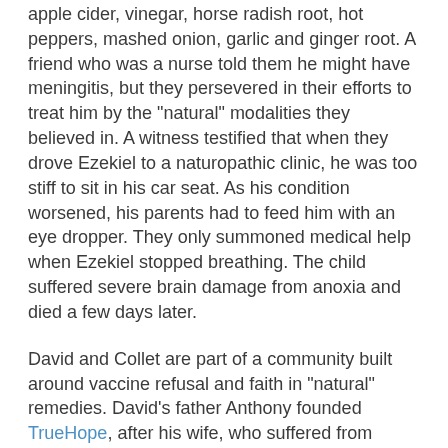apple cider, vinegar, horse radish root, hot peppers, mashed onion, garlic and ginger root. A friend who was a nurse told them he might have meningitis, but they persevered in their efforts to treat him by the "natural" modalities they believed in. A witness testified that when they drove Ezekiel to a naturopathic clinic, he was too stiff to sit in his car seat. As his condition worsened, his parents had to feed him with an eye dropper. They only summoned medical help when Ezekiel stopped breathing. The child suffered severe brain damage from anoxia and died a few days later.
David and Collet are part of a community built around vaccine refusal and faith in "natural" remedies. David's father Anthony founded TrueHope, after his wife, who suffered from bipolar illness, committed suicide. The company markets EMPowerplus, a "natural" product that they claim as a cure for bipolar disorder, depression, and even autism. Ezekiel's father David is Vice-President of the company.
David and Collet were convicted under a Canadian law that requires parents "to provide necessaries of life for a child under the age of sixteen years." The prosecution asked the judge to sentence them to 2.5 of one in prison development